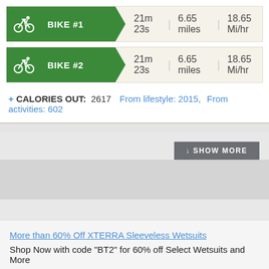[Figure (infographic): Bike #1 activity row with cycling icon, green banner label BIKE #1, stats: 21m 23s, 6.65 miles, 18.65 Mi/hr]
[Figure (infographic): Bike #2 activity row with cycling icon, green banner label BIKE #2, stats: 21m 23s, 6.65 miles, 18.65 Mi/hr]
+ CALORIES OUT: 2617  From lifestyle: 2015,  From activities: 602
[Figure (screenshot): Show More button in gray]
More than 60% Off XTERRA Sleeveless Wetsuits
Shop Now with code "BT2" for 60% off Select Wetsuits and More
Don't Bonk!